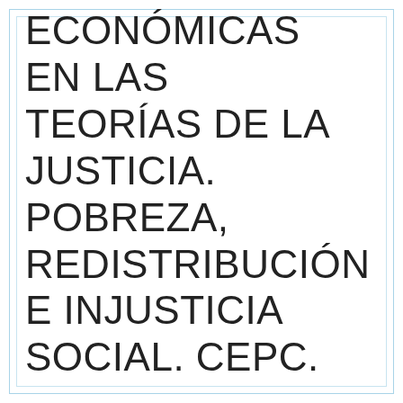ECONÓMICAS EN LAS TEORÍAS DE LA JUSTICIA. POBREZA, REDISTRIBUCIÓN E INJUSTICIA SOCIAL. CEPC.